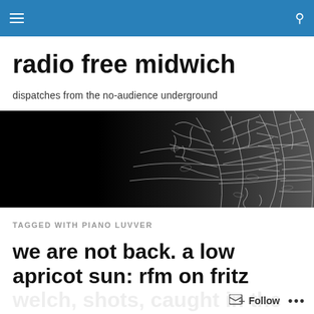radio free midwich — site header bar with hamburger menu and search icon
radio free midwich
dispatches from the no-audience underground
[Figure (illustration): Black and white banner image showing abstract floral/organic forms, half black on the left and intricate white line-art patterns on the right]
TAGGED WITH PIANO LUVVER
we are not back. a low apricot sun: rfm on fritz welch, shots, caught in the wake for...
Follow